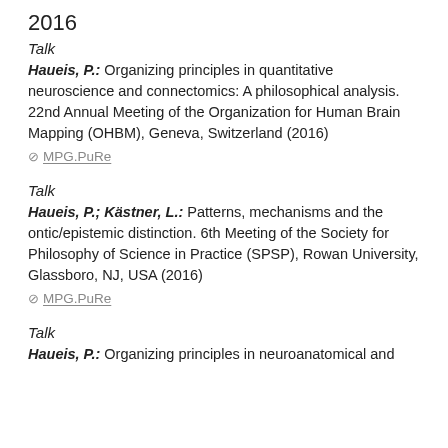2016
Talk
Haueis, P.: Organizing principles in quantitative neuroscience and connectomics: A philosophical analysis. 22nd Annual Meeting of the Organization for Human Brain Mapping (OHBM), Geneva, Switzerland (2016)
⊘ MPG.PuRe
Talk
Haueis, P.; Kästner, L.: Patterns, mechanisms and the ontic/epistemic distinction. 6th Meeting of the Society for Philosophy of Science in Practice (SPSP), Rowan University, Glassboro, NJ, USA (2016)
⊘ MPG.PuRe
Talk
Haueis, P.: Organizing principles in neuroanatomical and